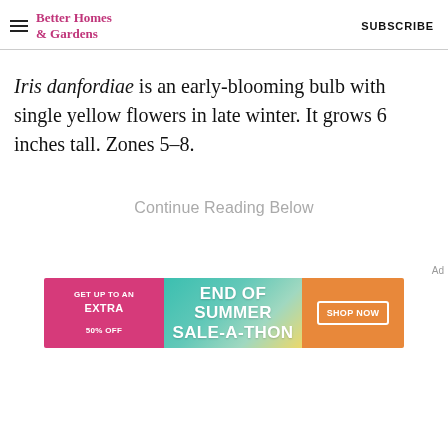Better Homes & Gardens | SUBSCRIBE
Iris danfordiae is an early-blooming bulb with single yellow flowers in late winter. It grows 6 inches tall. Zones 5-8.
Continue Reading Below
Ad
[Figure (infographic): Advertisement banner: GET UP TO AN EXTRA 50% OFF | END OF SUMMER SALE-A-THON | SHOP NOW button]